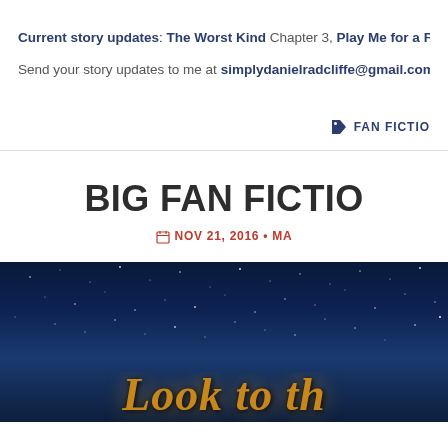Current story updates: The Worst Kind Chapter 3, Play Me for a Fool
Send your story updates to me at simplydanielradcliffe@gmail.com
FAN FICTIO…
BIG FAN FICTIO…
NOV 21, 2016 • MA…
[Figure (photo): Dark night sky with stars background, showing partial text 'Look to th...' in gold italic serif font at the bottom]